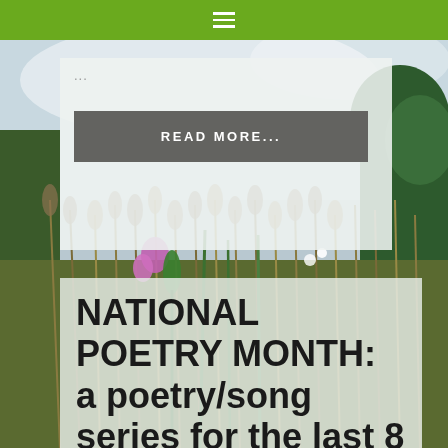≡
[Figure (photo): Outdoor nature scene with tall grasses, wildflowers (pink/purple), green reeds, and trees in the background under a cloudy sky]
...
READ MORE...
NATIONAL POETRY MONTH: a poetry/song series for the last 8 days of April. Number 8